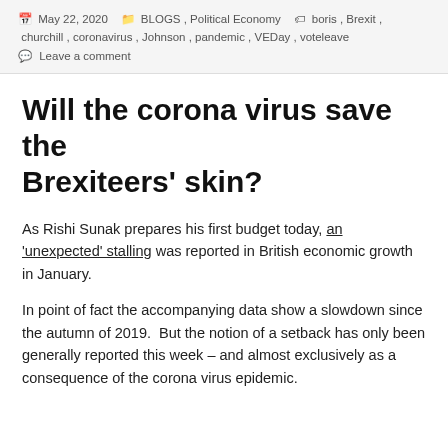May 22, 2020  BLOGS, Political Economy  boris, Brexit, churchill, coronavirus, Johnson, pandemic, VEDay, voteleave  Leave a comment
Will the corona virus save the Brexiteers' skin?
As Rishi Sunak prepares his first budget today, an 'unexpected' stalling was reported in British economic growth in January.
In point of fact the accompanying data show a slowdown since the autumn of 2019.  But the notion of a setback has only been generally reported this week – and almost exclusively as a consequence of the corona virus epidemic.